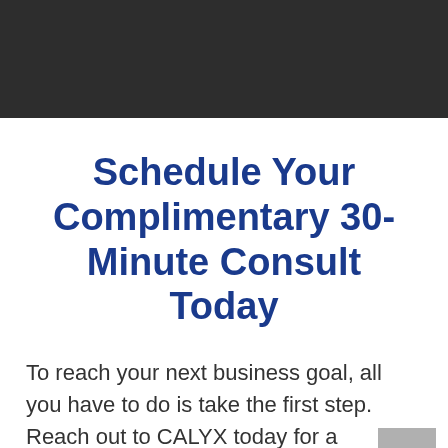[Figure (photo): Dark gray/charcoal header banner area at the top of the page]
Schedule Your Complimentary 30-Minute Consult Today
To reach your next business goal, all you have to do is take the first step. Reach out to CALYX today for a complimentary 30-